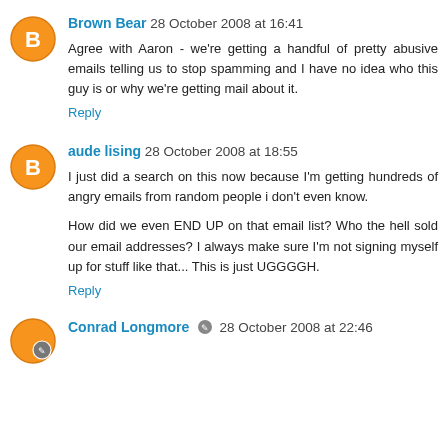Brown Bear 28 October 2008 at 16:41
Agree with Aaron - we're getting a handful of pretty abusive emails telling us to stop spamming and I have no idea who this guy is or why we're getting mail about it.
Reply
aude lising 28 October 2008 at 18:55
I just did a search on this now because I'm getting hundreds of angry emails from random people i don't even know.

How did we even END UP on that email list? Who the hell sold our email addresses? I always make sure I'm not signing myself up for stuff like that... This is just UGGGGH.
Reply
Conrad Longmore 28 October 2008 at 22:46